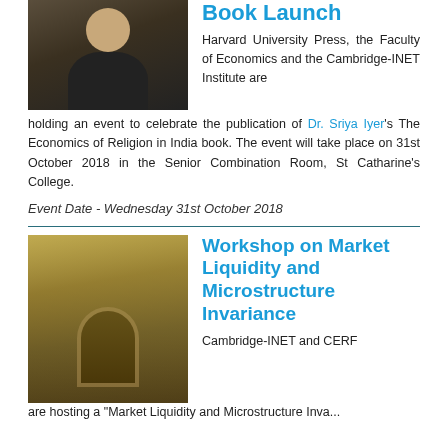[Figure (photo): Photo of Dr. Sriya Iyer speaking at a podium, wearing pearls]
Book Launch
Harvard University Press, the Faculty of Economics and the Cambridge-INET Institute are holding an event to celebrate the publication of Dr. Sriya Iyer's The Economics of Religion in India book. The event will take place on 31st October 2018 in the Senior Combination Room, St Catharine's College.
Event Date - Wednesday 31st October 2018
[Figure (photo): Photo of a Cambridge college building with an arched doorway covered in ivy, a bicycle parked nearby]
Workshop on Market Liquidity and Microstructure Invariance
Cambridge-INET and CERF are hosting a "Market Liquidity and Microstructure Invariance"...